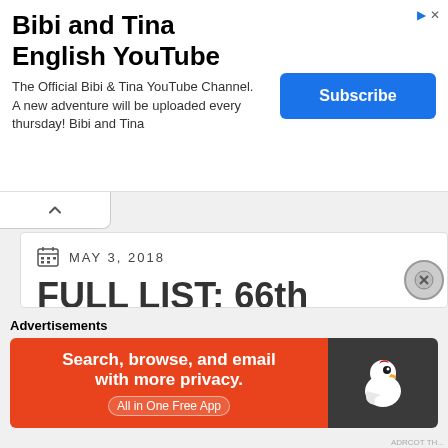[Figure (infographic): Advertisement banner for Bibi and Tina English YouTube channel with a Subscribe button]
MAY 3, 2018
FULL LIST: 66th FAMAS Awards Nominees
[Figure (photo): Press Launch photo for 66th FAMAS Awards on May 03, 2018 showing a golden trophy figure against display backdrops with patterned fabric panels]
Advertisements
[Figure (infographic): DuckDuckGo advertisement: Search, browse, and email with more privacy. All in One Free App]